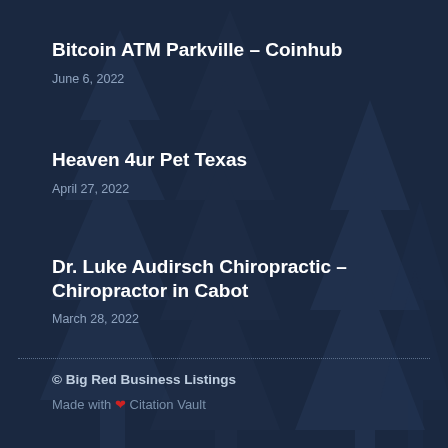Bitcoin ATM Parkville – Coinhub
June 6, 2022
Heaven 4ur Pet Texas
April 27, 2022
Dr. Luke Audirsch Chiropractic – Chiropractor in Cabot
March 28, 2022
© Big Red Business Listings
Made with ❤ Citation Vault